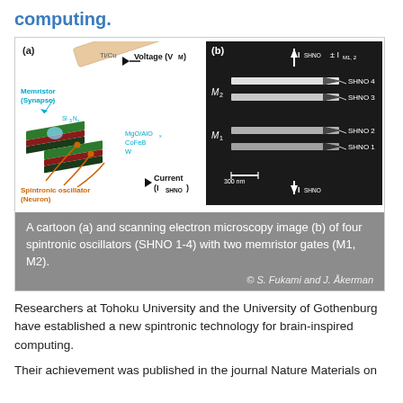computing.
[Figure (illustration): Panel (a): cartoon diagram of spintronic oscillator (Neuron) with memristor (Synapse), labeled with Voltage (VM), Current (ISHNO), and material layers MgO/AlOx, CoFeB, W, and Si3Nx, Ti/Cu. Panel (b): scanning electron microscopy image showing M1 and M2 memristor gates with SHNO 1-4 spintronic oscillators, with current ISHNO ± IM1,2 and scale bar 300 nm.]
A cartoon (a) and scanning electron microscopy image (b) of four spintronic oscillators (SHNO 1-4) with two memristor gates (M1, M2).
Researchers at Tohoku University and the University of Gothenburg have established a new spintronic technology for brain-inspired computing.
Their achievement was published in the journal Nature Materials on